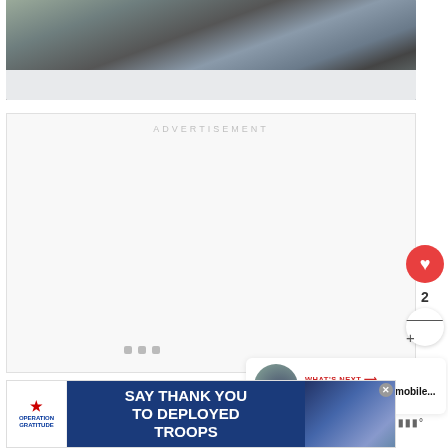[Figure (photo): Close-up photo of machinery or vehicle parts in a snowy outdoor setting, showing metal components with snow on the ground]
ADVERTISEMENT
2
WHAT'S NEXT → How Fast Do Snowmobile...
[Figure (photo): Advertisement banner: Operation Gratitude - SAY THANK YOU TO DEPLOYED TROOPS with patriotic imagery]